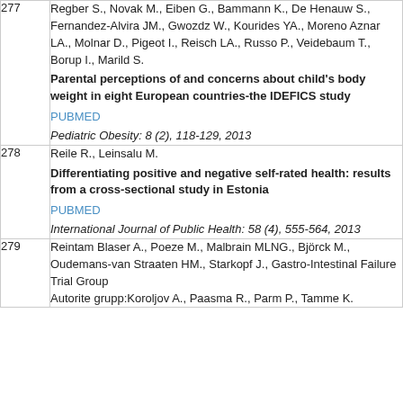| # | Reference |
| --- | --- |
| 277 | Regber S., Novak M., Eiben G., Bammann K., De Henauw S., Fernandez-Alvira JM., Gwozdz W., Kourides YA., Moreno Aznar LA., Molnar D., Pigeot I., Reisch LA., Russo P., Veidebaum T., Borup I., Marild S. Parental perceptions of and concerns about child's body weight in eight European countries-the IDEFICS study PUBMED Pediatric Obesity: 8 (2), 118-129, 2013 |
| 278 | Reile R., Leinsalu M. Differentiating positive and negative self-rated health: results from a cross-sectional study in Estonia PUBMED International Journal of Public Health: 58 (4), 555-564, 2013 |
| 279 | Reintam Blaser A., Poeze M., Malbrain MLNG., Björck M., Oudemans-van Straaten HM., Starkopf J., Gastro-Intestinal Failure Trial Group Autorite grupp:Koroljov A., Paasma R., Parm P., Tamme K. |